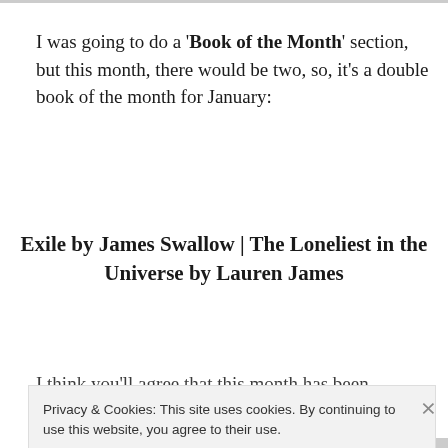I was going to do a 'Book of the Month' section, but this month, there would be two, so, it's a double book of the month for January:
Exile by James Swallow | The Loneliest in the Universe by Lauren James
I think you'll agree that this month has been relatively
Privacy & Cookies: This site uses cookies. By continuing to use this website, you agree to their use.
To find out more, including how to control cookies, see here: Cookie Policy